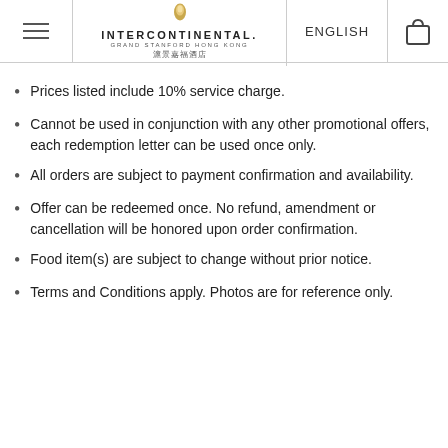InterContinental Grand Stanford Hong Kong | ENGLISH
Prices listed include 10% service charge.
Cannot be used in conjunction with any other promotional offers, each redemption letter can be used once only.
All orders are subject to payment confirmation and availability.
Offer can be redeemed once. No refund, amendment or cancellation will be honored upon order confirmation.
Food item(s) are subject to change without prior notice.
Terms and Conditions apply. Photos are for reference only.